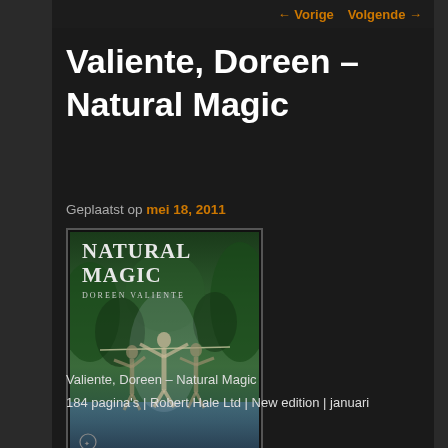← Vorige   Volgende →
Valiente, Doreen – Natural Magic
Geplaatst op mei 18, 2011
[Figure (photo): Book cover of 'Natural Magic' by Doreen Valiente, showing three human figures with arms raised near a forest stream, with green foliage background]
Valiente, Doreen – Natural Magic
184 pagina's | Robert Hale Ltd | New edition | januari